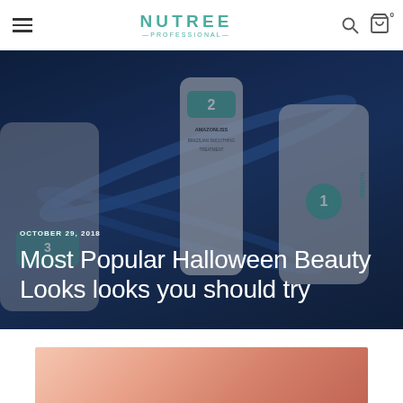NUTREE PROFESSIONAL — navigation bar with hamburger menu, logo, search icon, and cart icon (0)
[Figure (photo): Hero image showing Nutree Professional Amazonliss Brazilian Smoothing Treatment product bottles arranged with blue ribbons on a dark blue background]
OCTOBER 29, 2018
Most Popular Halloween Beauty Looks looks you should try
[Figure (photo): Partial view of a pink/peach toned image at the bottom of the page, appears to be a beauty/cosmetic related photo]